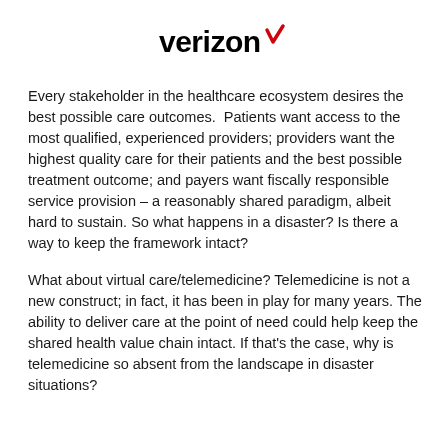[Figure (logo): Verizon logo with red checkmark]
Every stakeholder in the healthcare ecosystem desires the best possible care outcomes.  Patients want access to the most qualified, experienced providers; providers want the highest quality care for their patients and the best possible treatment outcome; and payers want fiscally responsible service provision – a reasonably shared paradigm, albeit hard to sustain. So what happens in a disaster? Is there a way to keep the framework intact?
What about virtual care/telemedicine? Telemedicine is not a new construct; in fact, it has been in play for many years. The ability to deliver care at the point of need could help keep the shared health value chain intact. If that's the case, why is telemedicine so absent from the landscape in disaster situations?